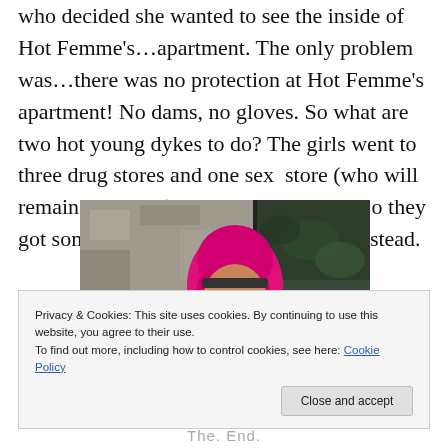who decided she wanted to see the inside of Hot Femme's…apartment. The only problem was…there was no protection at Hot Femme's apartment! No dams, no gloves. So what are two hot young dykes to do? The girls went to three drug stores and one sex store (who will remain nameless) and came up empty. So they got some ice cream and went to sleep instead.
[Figure (photo): A woman with bright pink hair, wearing a colorful striped outfit, holding an object, posed against a concrete wall background.]
Privacy & Cookies: This site uses cookies. By continuing to use this website, you agree to their use.
To find out more, including how to control cookies, see here: Cookie Policy
Close and accept
The. End.